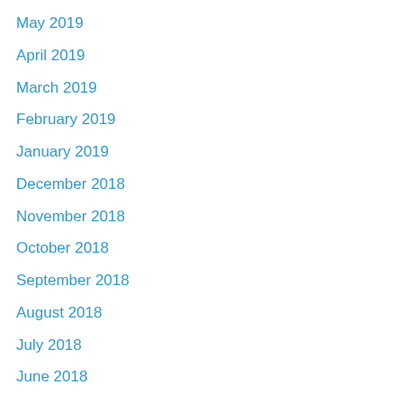May 2019
April 2019
March 2019
February 2019
January 2019
December 2018
November 2018
October 2018
September 2018
August 2018
July 2018
June 2018
April 2018
March 2018
February 2018
January 2018
December 2017
November 2017
October 2017
September 2017